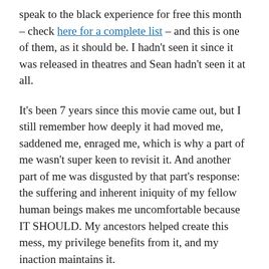speak to the black experience for free this month – check here for a complete list – and this is one of them, as it should be. I hadn't seen it since it was released in theatres and Sean hadn't seen it at all.
It's been 7 years since this movie came out, but I still remember how deeply it had moved me, saddened me, enraged me, which is why a part of me wasn't super keen to revisit it. And another part of me was disgusted by that part's response: the suffering and inherent iniquity of my fellow human beings makes me uncomfortable because IT SHOULD. My ancestors helped create this mess, my privilege benefits from it, and my inaction maintains it.
Oscar Grant III was just 22 years old when he was shot by a white cop while lying face down on the ground. It's been nearly 12 years since his death signaled a significant problem in policing, and nearly 12 years since we've continued to allow our darker skinned friends to die for their melanin. The